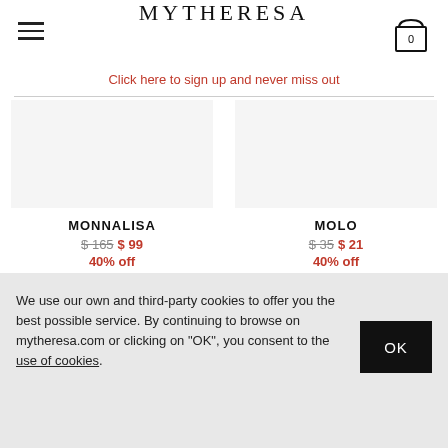MYTHERESA
Click here to sign up and never miss out
MONNALISA $ 165 $ 99 40% off
MOLO $ 35 $ 21 40% off
We use our own and third-party cookies to offer you the best possible service. By continuing to browse on mytheresa.com or clicking on "OK", you consent to the use of cookies.